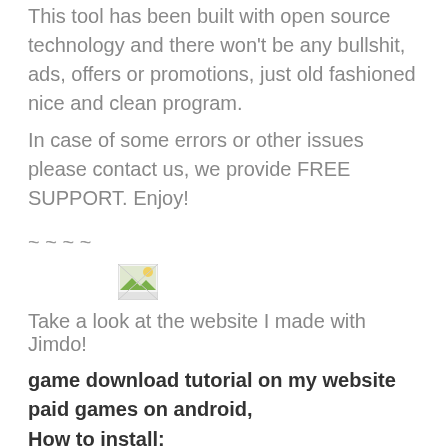This tool has been built with open source technology and there won't be any bullshit, ads, offers or promotions, just old fashioned nice and clean program.
In case of some errors or other issues please contact us, we provide FREE SUPPORT. Enjoy!
~ ~ ~ ~
[Figure (photo): Small broken/placeholder image icon]
Take a look at the website I made with Jimdo!
game download tutorial on my website paid games on android,
How to install:
– Download, extract and run .exe file,
(If your antivirus blocking file, pause it or disable it for some time.)